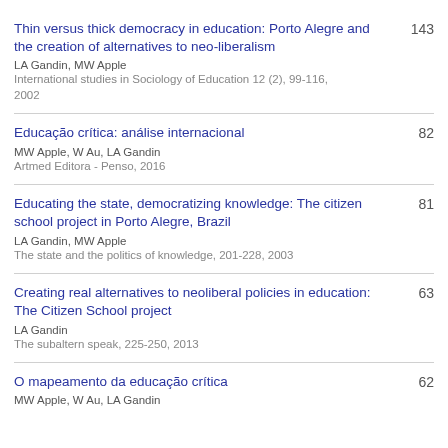Thin versus thick democracy in education: Porto Alegre and the creation of alternatives to neo-liberalism | LA Gandin, MW Apple | International studies in Sociology of Education 12 (2), 99-116, 2002 | 143
Educação crítica: análise internacional | MW Apple, W Au, LA Gandin | Artmed Editora - Penso, 2016 | 82
Educating the state, democratizing knowledge: The citizen school project in Porto Alegre, Brazil | LA Gandin, MW Apple | The state and the politics of knowledge, 201-228, 2003 | 81
Creating real alternatives to neoliberal policies in education: The Citizen School project | LA Gandin | The subaltern speak, 225-250, 2013 | 63
O mapeamento da educação crítica | MW Apple, W Au, LA Gandin | 62